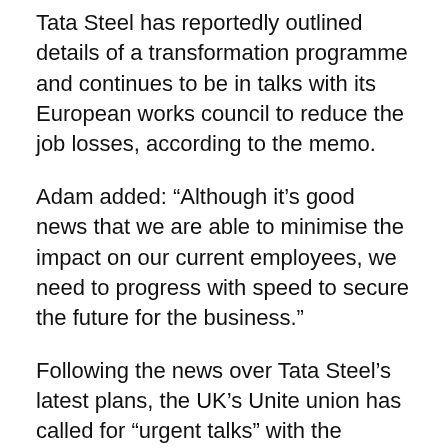Tata Steel has reportedly outlined details of a transformation programme and continues to be in talks with its European works council to reduce the job losses, according to the memo.
Adam added: “Although it’s good news that we are able to minimise the impact on our current employees, we need to progress with speed to secure the future for the business.”
Following the news over Tata Steel’s latest plans, the UK’s Unite union has called for “urgent talks” with the business to discuss the implication on the company’s British operations, including the Port Talbot site in South Wales.